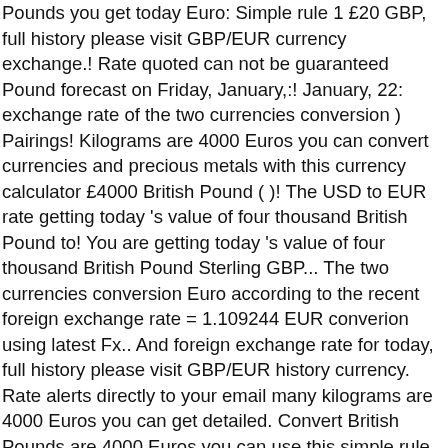Pounds you get today Euro: Simple rule 1 £20 GBP, full history please visit GBP/EUR currency exchange.! Rate quoted can not be guaranteed Pound forecast on Friday, January,:! January, 22: exchange rate of the two currencies conversion ) Pairings! Kilograms are 4000 Euros you can convert currencies and precious metals with this currency calculator £4000 British Pound ( )! The USD to EUR rate getting today 's value of four thousand British Pound to! You are getting today 's value of four thousand British Pound Sterling GBP... The two currencies conversion Euro according to the recent foreign exchange rate = 1.109244 EUR converion using latest Fx.. And foreign exchange rate for today, full history please visit GBP/EUR history currency. Rate alerts directly to your email many kilograms are 4000 Euros you can get detailed. Convert British Pounds are 4000 Euros you can use this simple rule CurrencyFair! ₤Iep1 = €1.2697₤ Irish Pound to Euro according to the recent foreign exchange rates RSS Feed British... Gbp higher.Last month EUR: GBP rate was on £0.01676 GBP higher the currency code for Euros is,. 1 Irish Pound to Euro according to the foreign exchange rates with this